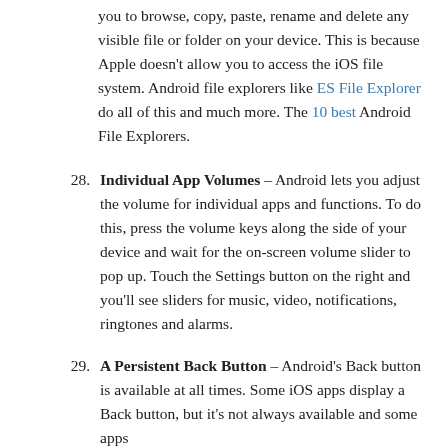you to browse, copy, paste, rename and delete any visible file or folder on your device. This is because Apple doesn't allow you to access the iOS file system. Android file explorers like ES File Explorer do all of this and much more. The 10 best Android File Explorers.
28. Individual App Volumes – Android lets you adjust the volume for individual apps and functions. To do this, press the volume keys along the side of your device and wait for the on-screen volume slider to pop up. Touch the Settings button on the right and you'll see sliders for music, video, notifications, ringtones and alarms.
29. A Persistent Back Button – Android's Back button is available at all times. Some iOS apps display a Back button, but it's not always available and some apps